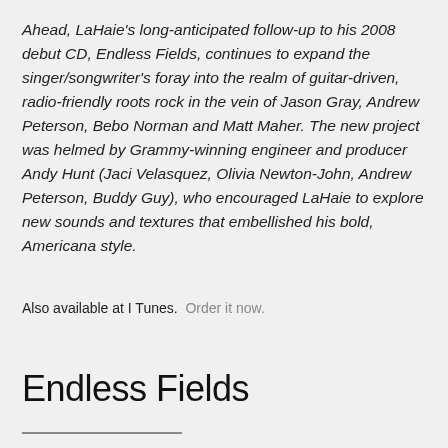Ahead, LaHaie's long-anticipated follow-up to his 2008 debut CD, Endless Fields, continues to expand the singer/songwriter's foray into the realm of guitar-driven, radio-friendly roots rock in the vein of Jason Gray, Andrew Peterson, Bebo Norman and Matt Maher. The new project was helmed by Grammy-winning engineer and producer Andy Hunt (Jaci Velasquez, Olivia Newton-John, Andrew Peterson, Buddy Guy), who encouraged LaHaie to explore new sounds and textures that embellished his bold, Americana style.
Also available at I Tunes. Order it now.
Endless Fields